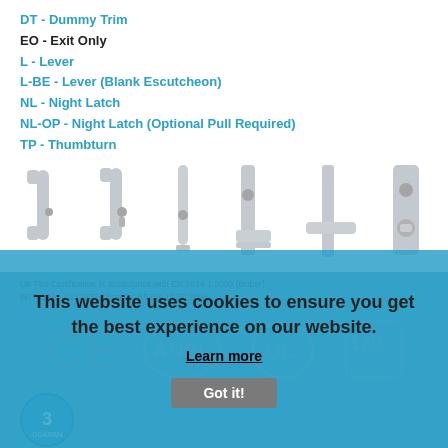DT - Dummy Trim
EO - Exit Only
L - Lever
L-BE - Lever (Blank Escutcheon)
NL - Night Latch
NL-OP - Night Latch (Optional Pull Required)
TP - Thumbturn
[Figure (photo): Six door hardware trim options shown side by side: two pull handles, two lever handles with escutcheons, one flat lever, and one thumbturn escutcheon - all in satin chrome finish]
This website uses cookies to ensure you get the best experience on our website.
Learn more
Got it!
UK Fire Certification in accordance with EN 1634-1 2000 (timber) WFRC No. C132276 120mins; BS EN 1125: 2008